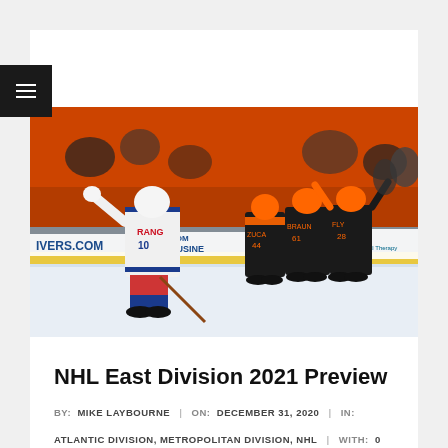[Figure (photo): Ice hockey game photo showing a New York Rangers player in white jersey with arms raised, while Philadelphia Flyers players in black and orange jerseys celebrate in the background. Arena boards visible with partial ads including 'RIVERS.COM', 'COMIC BUSINE', and 'NovaCare Power of Physical Therapy'. Crowd in orange fills the stands.]
NHL East Division 2021 Preview
BY: MIKE LAYBOURNE | ON: DECEMBER 31, 2020 | IN: ATLANTIC DIVISION, METROPOLITAN DIVISION, NHL | WITH: 0